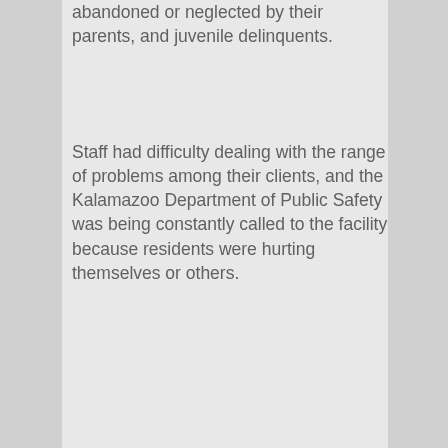abandoned or neglected by their parents, and juvenile delinquents.
Staff had difficulty dealing with the range of problems among their clients, and the Kalamazoo Department of Public Safety was being constantly called to the facility because residents were hurting themselves or others.
A report released in May 2004 by the Michigan Family Independence Agency detailed a chaotic environment where residents were "out of control" and residents and staff had been injured. There was a 40-hour riot at the facility in April 2003. After the 2004 report, the